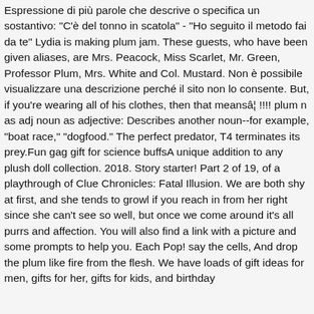Espressione di più parole che descrive o specifica un sostantivo: "C'è del tonno in scatola" - "Ho seguito il metodo fai da te" Lydia is making plum jam. These guests, who have been given aliases, are Mrs. Peacock, Miss Scarlet, Mr. Green, Professor Plum, Mrs. White and Col. Mustard. Non è possibile visualizzare una descrizione perché il sito non lo consente. But, if you're wearing all of his clothes, then that meansâ¦ !!!! plum n as adj noun as adjective: Describes another noun--for example, "boat race," "dogfood." The perfect predator, T4 terminates its prey.Fun gag gift for science buffsA unique addition to any plush doll collection. 2018. Story starter! Part 2 of 19, of a playthrough of Clue Chronicles: Fatal Illusion. We are both shy at first, and she tends to growl if you reach in from her right since she can't see so well, but once we come around it's all purrs and affection. You will also find a link with a picture and some prompts to help you. Each Pop! say the cells, And drop the plum like fire from the flesh. We have loads of gift ideas for men, gifts for her, gifts for kids, and birthday